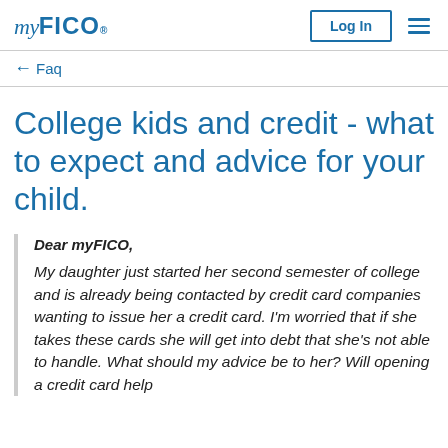myFICO | Log In
← Faq
College kids and credit - what to expect and advice for your child.
Dear myFICO, My daughter just started her second semester of college and is already being contacted by credit card companies wanting to issue her a credit card. I'm worried that if she takes these cards she will get into debt that she's not able to handle. What should my advice be to her? Will opening a credit card help